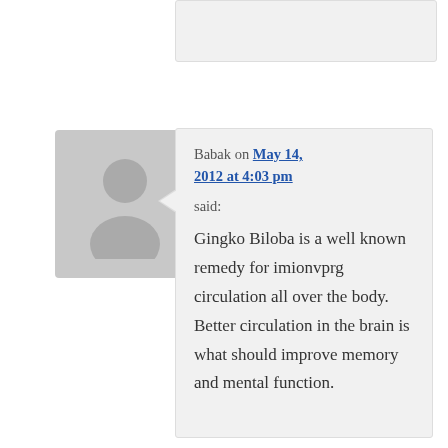[Figure (illustration): Generic avatar placeholder image — grey silhouette of a person on grey background]
Babak on May 14, 2012 at 4:03 pm said: Gingko Biloba is a well known remedy for imionvprg circulation all over the body. Better circulation in the brain is what should improve memory and mental function.